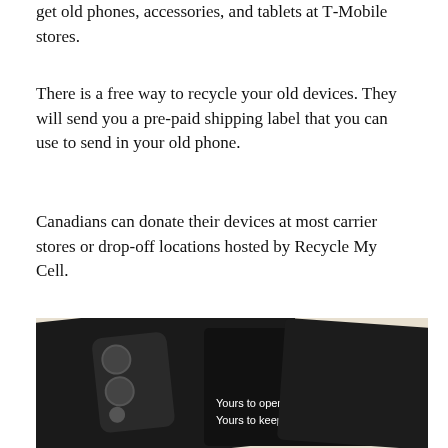get old phones, accessories, and tablets at T-Mobile stores.
There is a free way to recycle your old devices. They will send you a pre-paid shipping label that you can use to send in your old phone.
Canadians can donate their devices at most carrier stores or drop-off locations hosted by Recycle My Cell.
[Figure (photo): Photo of multiple smartphones (including a Fairphone) laid on top of a world map, with one phone displaying text 'Yours to open. Yours to keep.' and a blue card visible]